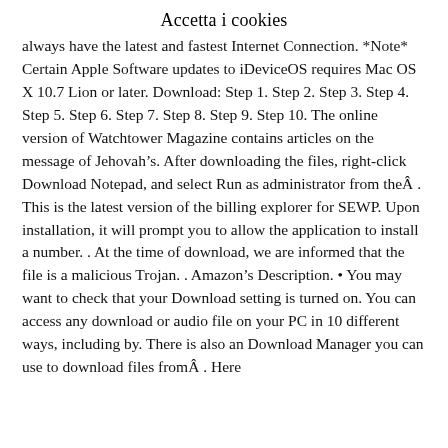Accetta i cookies
always have the latest and fastest Internet Connection. *Note* Certain Apple Software updates to iDeviceOS requires Mac OS X 10.7 Lion or later. Download: Step 1. Step 2. Step 3. Step 4. Step 5. Step 6. Step 7. Step 8. Step 9. Step 10. The online version of Watchtower Magazine contains articles on the message of Jehovah’s. After downloading the files, right-click Download Notepad, and select Run as administrator from theÂ . This is the latest version of the billing explorer for SEWP. Upon installation, it will prompt you to allow the application to install a number. . At the time of download, we are informed that the file is a malicious Trojan. . Amazon’s Description. • You may want to check that your Download setting is turned on. You can access any download or audio file on your PC in 10 different ways, including by. There is also an Download Manager you can use to download files fromÂ . Here’s Exactly how...